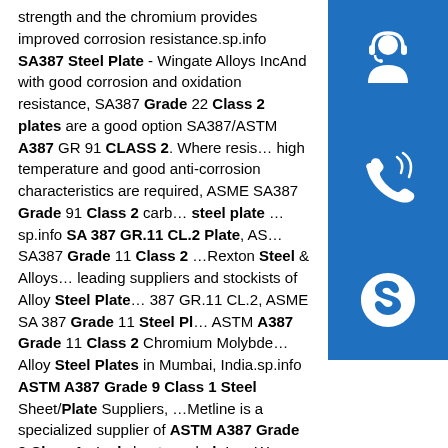strength and the chromium provides improved corrosion resistance.sp.info SA387 Steel Plate - Wingate Alloys IncAnd with good corrosion and oxidation resistance, SA387 Grade 22 Class 2 plates are a good option SA387/ASTM A387 GR 91 CLASS 2. Where resis… high temperature and good anti-corrosion characteristics are required, ASME SA387 Grade 91 Class 2 carb… steel plate …sp.info SA 387 GR.11 CL.2 Plate, AS… SA387 Grade 11 Class 2 …Rexton Steel & Alloys… leading suppliers and stockists of Alloy Steel Plate… 387 GR.11 CL.2, ASME SA 387 Grade 11 Steel Pl… ASTM A387 Grade 11 Class 2 Chromium Molybde… Alloy Steel Plates in Mumbai, India.sp.info ASTM A387 Grade 9 Class 1 Steel Sheet/Plate Suppliers, …Metline is a specialized supplier of ASTM A387 Grade 9 Class 1 steel sheets and plates. We can offer ASTM A387 Grade 9 Class 1 pressure vessel steel plates in a variety of thickness and sizes at reasonable prices. ASTM A387 Grade 9 Class 1 is either available as ex–stock or directly
[Figure (illustration): Blue icon box with headset/customer support icon]
[Figure (illustration): Blue icon box with phone/call icon]
[Figure (illustration): Blue icon box with Skype icon]